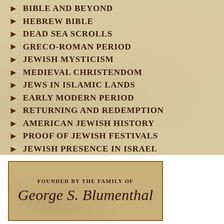BIBLE AND BEYOND
HEBREW BIBLE
DEAD SEA SCROLLS
GRECO-ROMAN PERIOD
JEWISH MYSTICISM
MEDIEVAL CHRISTENDOM
JEWS IN ISLAMIC LANDS
EARLY MODERN PERIOD
RETURNING AND REDEMPTION
AMERICAN JEWISH HISTORY
PROOF OF JEWISH FESTIVALS
JEWISH PRESENCE IN ISRAEL
FOUNDED BY THE FAMILY OF
George S. Blumenthal